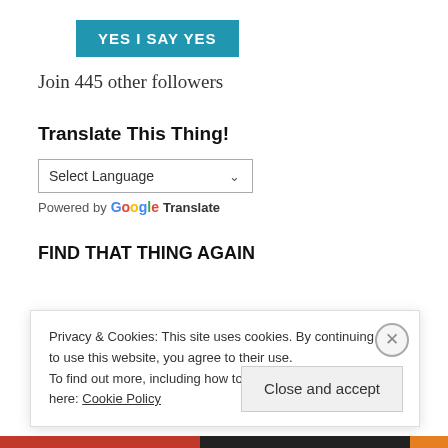[Figure (other): Blue button with white text reading YES I SAY YES]
Join 445 other followers
Translate This Thing!
[Figure (other): Select Language dropdown widget with Google Translate branding]
FIND THAT THING AGAIN
Privacy & Cookies: This site uses cookies. By continuing to use this website, you agree to their use.
To find out more, including how to control cookies, see here: Cookie Policy
Close and accept